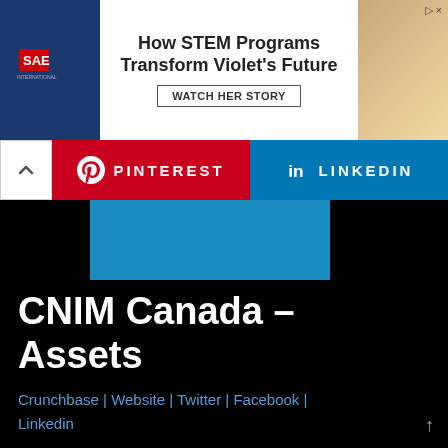[Figure (screenshot): SAE advertisement banner: How STEM Programs Transform Violet's Future — WATCH HER STORY]
[Figure (screenshot): Social sharing bar with Pinterest and LinkedIn buttons, and a collapse arrow]
CNIM Canada – Assets
Crunchbase | Website | Twitter | Facebook | Linkedin
CNIM Canada engages in the sale and maintenance of escalators and renovations.